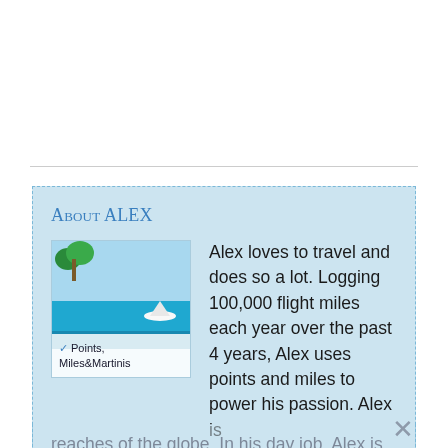About Alex
[Figure (photo): Thumbnail image showing a tropical beach scene with turquoise water and palm trees. Overlaid label reads 'Points, Miles & Martinis' with a checkmark.]
Alex loves to travel and does so a lot. Logging 100,000 flight miles each year over the past 4 years, Alex uses points and miles to power his passion. Alex is continuously striving to experience the far reaches of the globe. In his day job, Alex is a Management Consultant frequently on the